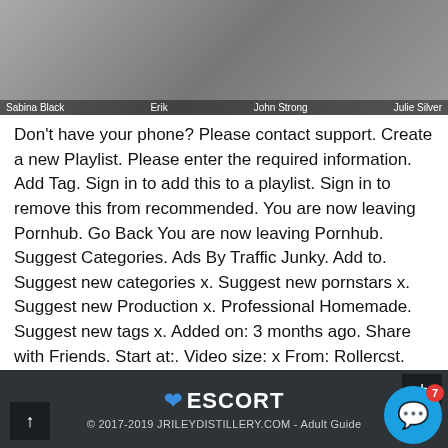[Figure (photo): Screenshot of an adult video website thumbnail showing multiple performers with name labels: Sabina Black, Erik, John Strong, Julie Silver]
Don't have your phone? Please contact support. Create a new Playlist. Please enter the required information. Add Tag. Sign in to add this to a playlist. Sign in to remove this from recommended. You are now leaving Pornhub. Go Back You are now leaving Pornhub. Suggest Categories. Ads By Traffic Junky. Add to. Suggest new categories x. Suggest new pornstars x. Suggest new Production x. Professional Homemade. Suggest new tags x. Added on: 3 months ago. Share with Friends. Start at:. Video size: x From: Rollercst.
ESCORT
© 2017-2019 JRILEYDISTILLERY.COM - Adult Guide